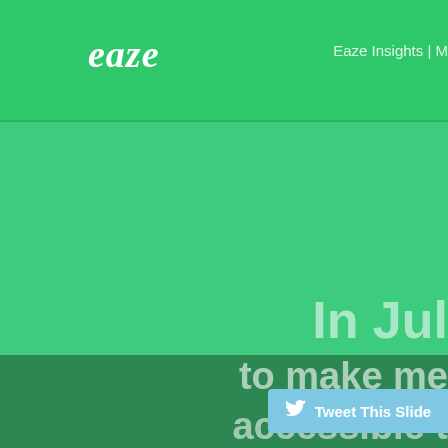Eaze Insights | M
[Figure (logo): Eaze logo in white cursive/script text on green background]
In Jul
to make me
accessible t
[Figure (screenshot): Tweet This Slide button with Twitter bird icon on light blue background]